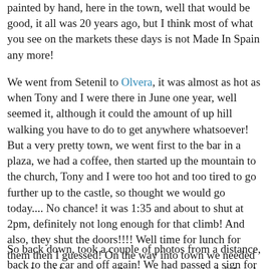painted by hand, here in the town, well that would be good, it all was 20 years ago, but I think most of what you see on the markets these days is not Made In Spain any more!
We went from Setenil to Olvera, it was almost as hot as when Tony and I were there in June one year, well seemed it, although it could the amount of up hill walking you have to do to get anywhere whatsoever! But a very pretty town, we went first to the bar in a plaza, we had a coffee, then started up the mountain to the church, Tony and I were too hot and too tired to go further up to the castle, so thought we would go today.... No chance! it was 1:35 and about to shut at 2pm, definitely not long enough for that climb! And also, they shut the doors!!!! Well time for lunch for them then I guessed! On the way into town we needed petrol, and I remembered a gas station on the left hand side of the road, I know I had only been to Olvera once before, but I did, and it was...! Funny how I remember that but go to put the cereal into the refrigerator!!!!
So back down, took a couple of photos from a distance, back to the car and off again! We had passed a sign for Gompillos